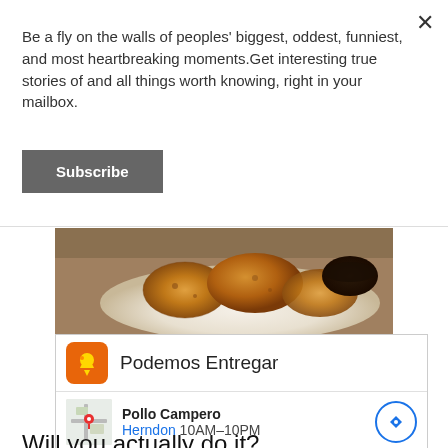Be a fly on the walls of peoples' biggest, oddest, funniest, and most heartbreaking moments.Get interesting true stories of and all things worth knowing, right in your mailbox.
Subscribe
[Figure (photo): Food photo showing fried chicken pieces on a white plate with a dipping sauce]
[Figure (infographic): Ad card for Podemos Entregar delivery service showing Pollo Campero restaurant in Herndon with hours 10AM-10PM]
Will you actually do it?
Depends on how brave you are and how
comfortable you are with starting over in another part of the world